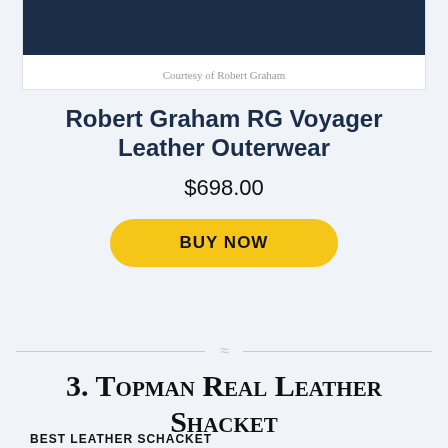[Figure (photo): Product image of Robert Graham RG Voyager Leather Outerwear jacket in dark navy/black]
Courtesy of Robert Graham
Robert Graham RG Voyager Leather Outerwear
$698.00
BUY NOW
3. Topman Real Leather Shacket
BEST LEATHER SCHACKET